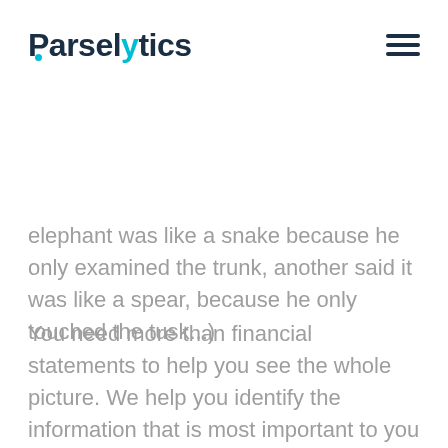Parselytics
elephant was like a snake because he only examined the trunk, another said it was like a spear, because he only touched the tusk...)
You need more than financial statements to help you see the whole picture. We help you identify the information that is most important to you in managing your business.